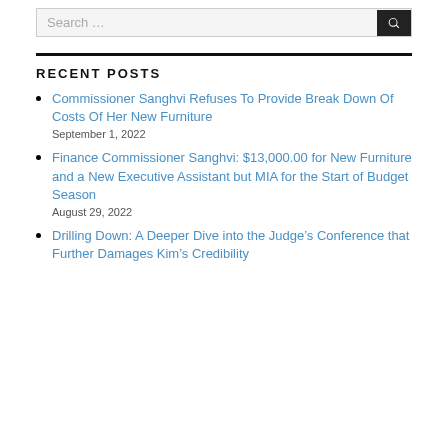Search ...
RECENT POSTS
Commissioner Sanghvi Refuses To Provide Break Down Of Costs Of Her New Furniture
September 1, 2022
Finance Commissioner Sanghvi: $13,000.00 for New Furniture and a New Executive Assistant but MIA for the Start of Budget Season
August 29, 2022
Drilling Down: A Deeper Dive into the Judge’s Conference that Further Damages Kim’s Credibility